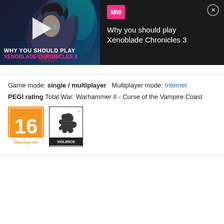[Figure (screenshot): Video ad banner for 'Why You Should Play Xenoblade Chronicles 3' from MeltWrite (MW), showing an anime character with a play button overlay and pink text overlay. Right side shows the title text on dark background with a close button.]
Game mode: single / multiplayer   Multiplayer mode: Internet
PEGI rating Total War: Warhammer II - Curse of the Vampire Coast
[Figure (logo): PEGI 16 rating badge (orange square with 16 and www.pegi.info) and a violence descriptor icon]